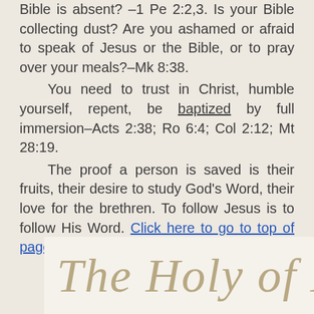Bible is absent? –1 Pe 2:2,3. Is your Bible collecting dust? Are you ashamed or afraid to speak of Jesus or the Bible, or to pray over your meals?–Mk 8:38.

You need to trust in Christ, humble yourself, repent, be baptized by full immersion–Acts 2:38; Ro 6:4; Col 2:12; Mt 28:19.

The proof a person is saved is their fruits, their desire to study God's Word, their love for the brethren. To follow Jesus is to follow His Word. Click here to go to top of page.
[Figure (illustration): Decorative cursive script reading 'The Holy of H...' (partially visible) on a light cream background]